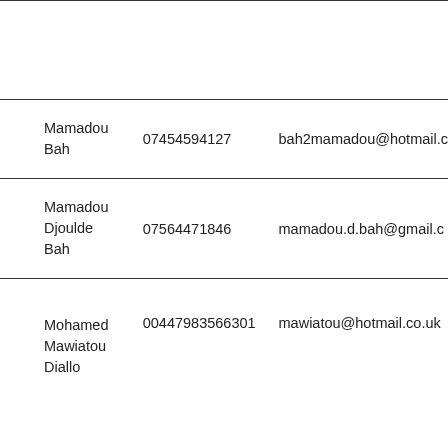| Name | Phone | Email |
| --- | --- | --- |
| Mamadou Bah | 07454594127 | bah2mamadou@hotmail.c… |
| Mamadou Djoulde Bah | 07564471846 | mamadou.d.bah@gmail.c… |
| Mohamed Mawiatou Diallo | 00447983566301 | mawiatou@hotmail.co.uk |